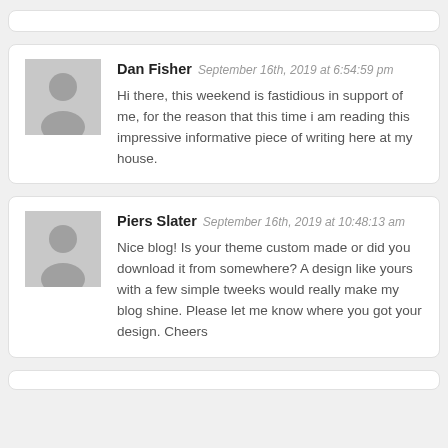Dan Fisher September 16th, 2019 at 6:54:59 pm
Hi there, this weekend is fastidious in support of me, for the reason that this time i am reading this impressive informative piece of writing here at my house.
Piers Slater September 16th, 2019 at 10:48:13 am
Nice blog! Is your theme custom made or did you download it from somewhere? A design like yours with a few simple tweeks would really make my blog shine. Please let me know where you got your design. Cheers